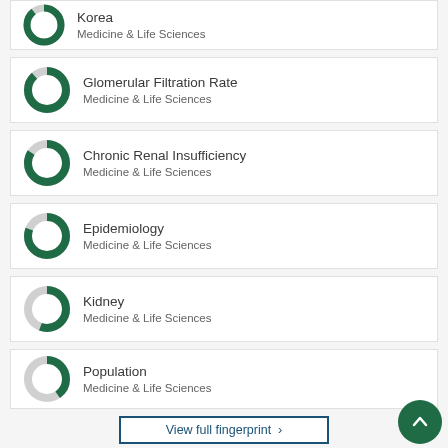[Figure (donut-chart): Donut chart for Korea, mostly filled dark green]
Korea
Medicine & Life Sciences
[Figure (donut-chart): Donut chart for Glomerular Filtration Rate, mostly filled dark green]
Glomerular Filtration Rate
Medicine & Life Sciences
[Figure (donut-chart): Donut chart for Chronic Renal Insufficiency, mostly filled dark green]
Chronic Renal Insufficiency
Medicine & Life Sciences
[Figure (donut-chart): Donut chart for Epidemiology, mostly filled dark green]
Epidemiology
Medicine & Life Sciences
[Figure (donut-chart): Donut chart for Kidney, partially filled dark green (~55%)]
Kidney
Medicine & Life Sciences
[Figure (donut-chart): Donut chart for Population, partially filled dark green (~40%)]
Population
Medicine & Life Sciences
View full fingerprint ›